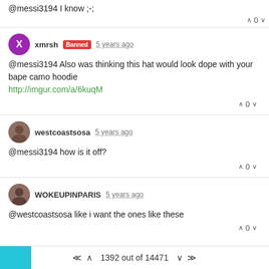@messi3194 I know ;-;
∧ 0 ∨
xmrsh Banned 5 years ago
@messi3194 Also was thinking this hat would look dope with your bape camo hoodie
http://imgur.com/a/6kuqM
∧ 0 ∨
westcoastsosa 5 years ago
@messi3194 how is it off?
∧ 0 ∨
WOKEUPINPARIS 5 years ago
@westcoastsosa like i want the ones like these
∧ 0 ∨
1392 out of 14471